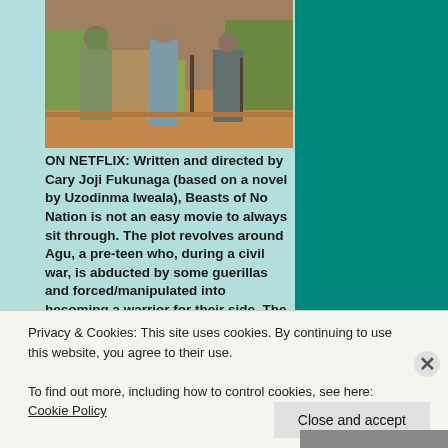[Figure (photo): Scene from Beasts of No Nation showing soldiers/guerrillas in a dusty outdoor setting with trees and structures in background]
ON NETFLIX: Written and directed by Cary Joji Fukunaga (based on a novel by Uzodinma Iweala), Beasts of No Nation is not an easy movie to always sit through. The plot revolves around Agu, a pre-teen who, during a civil war, is abducted by some guerillas and forced/manipulated into becoming a warrior for their side. The ending is possibly a bit too hopeful for the subject matter; it's unclear that the story has really earned it. But it's a very well done, well written and powerful story about the situation in some unstable countries in Africa.
Privacy & Cookies: This site uses cookies. By continuing to use this website, you agree to their use.
To find out more, including how to control cookies, see here: Cookie Policy
Close and accept